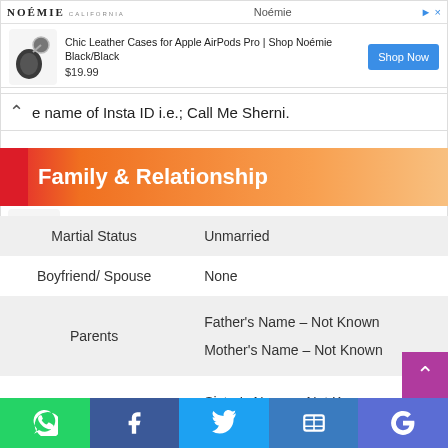[Figure (screenshot): Noémie advertisement banner for Chic Leather Cases for Apple AirPods Pro, priced at $19.99 with a Shop Now button]
e name of Insta ID i.e.; Call Me Sherni.
Family & Relationship
|  |  |
| --- | --- |
| Martial Status | Unmarried |
| Boyfriend/ Spouse | None |
| Parents | Father's Name – Not Known
Mother's Name – Not Known |
| Siblings | Sister's Name – Not Known
Brother's Name – Not Known |
[Figure (infographic): Bottom navigation bar with WhatsApp, Facebook, Twitter, Translate, and Google icons]